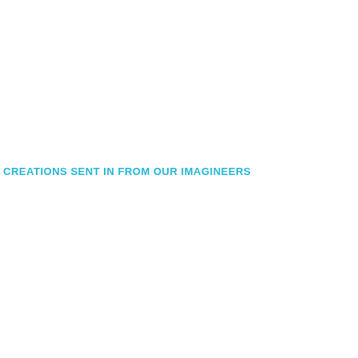CREATIONS SENT IN FROM OUR IMAGINEERS